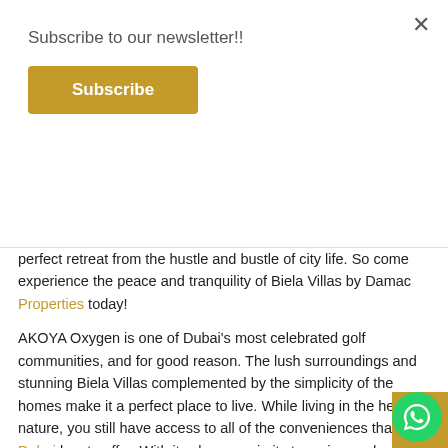Subscribe to our newsletter!!
Subscribe
perfect retreat from the hustle and bustle of city life. So come experience the peace and tranquility of Biela Villas by Damac Properties today!
AKOYA Oxygen is one of Dubai's most celebrated golf communities, and for good reason. The lush surroundings and stunning Biela Villas complemented by the simplicity of the homes make it a perfect place to live. While living in the heart of nature, you still have access to all of the conveniences that Dubai has to offer. With its close proximity to major road networks and business hubs, this neighborhood is perfect for those who want to enjoy both worlds.
Starting price: AED 999,999 (Payable over 5 years)
Features In Akoya Oxygen (Damac Hills 2)